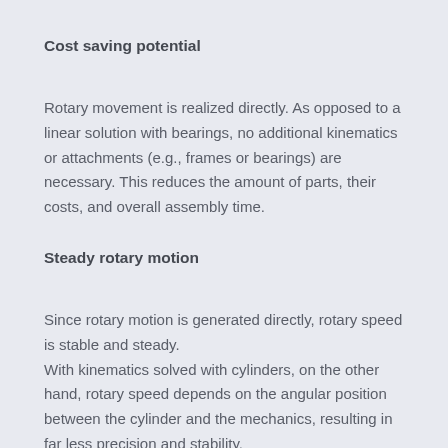Cost saving potential
Rotary movement is realized directly. As opposed to a linear solution with bearings, no additional kinematics or attachments (e.g., frames or bearings) are necessary. This reduces the amount of parts, their costs, and overall assembly time.
Steady rotary motion
Since rotary motion is generated directly, rotary speed is stable and steady.
With kinematics solved with cylinders, on the other hand, rotary speed depends on the angular position between the cylinder and the mechanics, resulting in far less precision and stability.